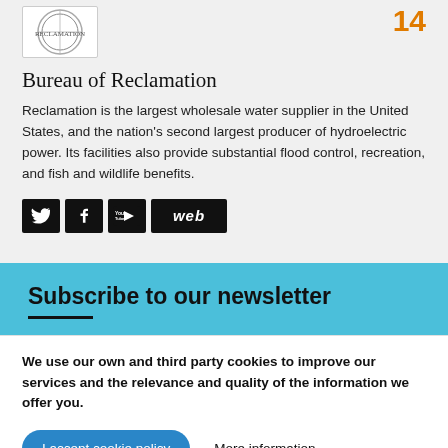[Figure (logo): Bureau of Reclamation circular seal/logo in white box]
14
Bureau of Reclamation
Reclamation is the largest wholesale water supplier in the United States, and the nation's second largest producer of hydroelectric power. Its facilities also provide substantial flood control, recreation, and fish and wildlife benefits.
[Figure (other): Social media icons: Twitter, Facebook, YouTube, web]
Subscribe to our newsletter
We use our own and third party cookies to improve our services and the relevance and quality of the information we offer you.
I accept cookie policy    More information